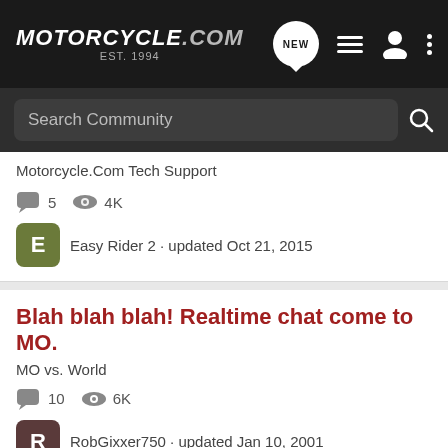Motorcycle.com est. 1994
Search Community
Motorcycle.Com Tech Support
5 replies · 4K views · Easy Rider 2 · updated Oct 21, 2015
Blah blah blah! Realtime chat come to MO.
MO vs. World
10 replies · 6K views · RobGixxer750 · updated Jan 10, 2001
This took 4 log ins
Motorcycle General Discussion